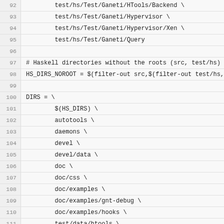Code listing lines 92–116, Makefile/build script showing directory definitions
92    test/hs/Test/Ganeti/HTools/Backend \
93    test/hs/Test/Ganeti/Hypervisor \
94    test/hs/Test/Ganeti/Hypervisor/Xen \
95    test/hs/Test/Ganeti/Query
96    (empty)
97 # Haskell directories without the roots (src, test/hs)
98 HS_DIRS_NOROOT = $(filter-out src,$(filter-out test/hs,
99    (empty)
100 DIRS = \
101    $(HS_DIRS) \
102    autotools \
103    daemons \
104    devel \
105    devel/data \
106    doc \
107    doc/css \
108    doc/examples \
109    doc/examples/gnt-debug \
110    doc/examples/hooks \
111    test/data/htools \
112    test/data/htools/rapi \
113    test/hs/shelltests \
114    test/autotools \
115    lib \
116    lib/build \